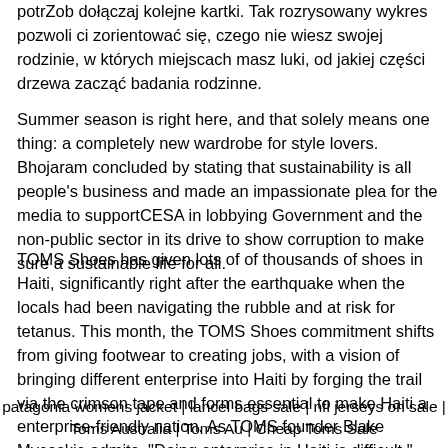potrZob dołączaj kolejne kartki. Tak rozrysowany wykres pozwoli ci zorientować się, czego nie wiesz swojej rodzinie, w których miejscach masz luki, od jakiej części drzewa zacząć badania rodzinne.
Summer season is right here, and that solely means one thing: a completely new wardrobe for style lovers. Bhojaram concluded by stating that sustainability is all people's business and made an impassionate plea for the media to supportCESA in lobbying Government and the non-public sector in its drive to show corruption to make sure a sustainable life for all.
TOMS Shoes has given lots of of thousands of shoes in Haiti, significantly right after the earthquake when the locals had been navigating the rubble and at risk for tetanus. This month, the TOMS Shoes commitment shifts from giving footwear to creating jobs, with a vision of bringing different enterprise into Haiti by forging the trail via the crimson tape and forms essential to make Haiti a enterprise-friendly nation. As TOMS founder Blake Mycoskie admits, "Doing enterprise in Haiti is difficult." However he's decided to alter all of that.
patagonia womens jacket | lancel bags sale | nfl jerseys on sale | Toms Australia | Toms Au | Cheap Toms Sale